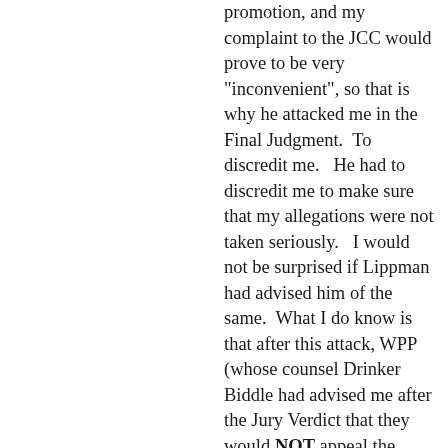promotion, and my complaint to the JCC would prove to be very "inconvenient", so that is why he attacked me in the Final Judgment.  To discredit me.   He had to discredit me to make sure that my allegations were not taken seriously.   I would not be surprised if Lippman had advised him of the same.  What I do know is that after this attack, WPP (whose counsel Drinker Biddle had advised me after the Jury Verdict that they would NOT appeal the Decision, especially after Acosta upheld the jury verdict), decided to "appeal" the verdict.  WPP had acquired Bates in 2003 and it was their legal department CC, and